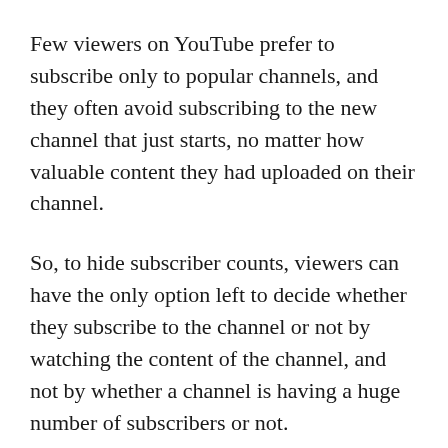Few viewers on YouTube prefer to subscribe only to popular channels, and they often avoid subscribing to the new channel that just starts, no matter how valuable content they had uploaded on their channel.
So, to hide subscriber counts, viewers can have the only option left to decide whether they subscribe to the channel or not by watching the content of the channel, and not by whether a channel is having a huge number of subscribers or not.